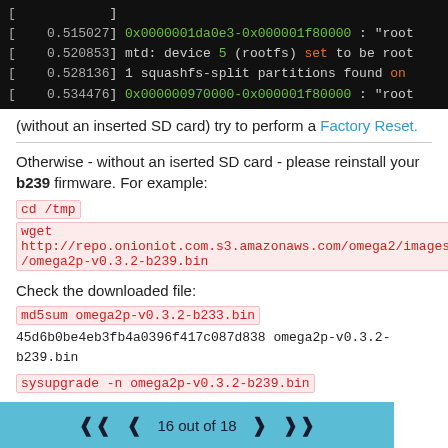[Figure (screenshot): Terminal/console output showing kernel boot messages with timestamps, hex addresses in green, and keywords in orange. Lines show: 0.515027 with hex address, 0.520853 mtd device 5 rootfs set to be root, 0.528136 1 squashfs-split partitions found on, 0.534476 with hex address.]
(without an inserted SD card) try to perform a Factory Reset.
Otherwise - without an iserted SD card - please reinstall your b239 firmware. For example:
cd /tmp
wget
http://repo.onioniot.com.s3.amazonaws.com/omega2/images/omega2p-v0.3.2-b239.bin
Check the downloaded file:
md5sum omega2p-v0.3.2-b233.bin
45d6b0be4eb3fb4a0396f417c087d838 omega2p-v0.3.2-b239.bin
sysupgrade -n omega2p-v0.3.2-b239.bin
Repeat the First Time Setup again please.
16 out of 18